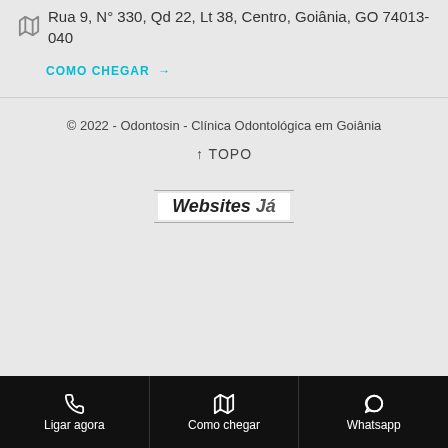Rua 9, N° 330, Qd 22, Lt 38, Centro, Goiânia, GO 74013-040
COMO CHEGAR →
© 2022 - Odontosin - Clínica Odontológica em Goiânia
↑ TOPO
[Figure (logo): Websites Já logo with horizontal lines above and below]
Ligar agora | Como chegar | Whatsapp